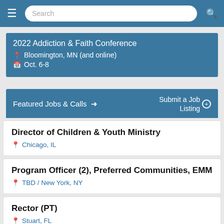Search
2022 Addiction & Faith Conference
Bloomington, MN (and online)
Oct. 6-8
Featured Jobs & Calls  Submit a Job Listing
Director of Children & Youth Ministry
Chicago, IL
Program Officer (2), Preferred Communities, EMM
TBD / New York, NY
Rector (PT)
Stuart, FL
Priest in Charge...